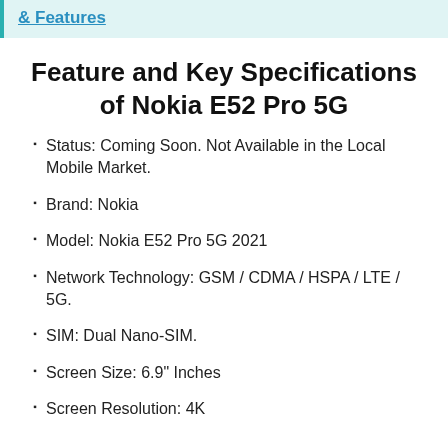& Features
Feature and Key Specifications of Nokia E52 Pro 5G
Status: Coming Soon. Not Available in the Local Mobile Market.
Brand: Nokia
Model: Nokia E52 Pro 5G 2021
Network Technology: GSM / CDMA / HSPA / LTE / 5G.
SIM: Dual Nano-SIM.
Screen Size: 6.9" Inches
Screen Resolution: 4K